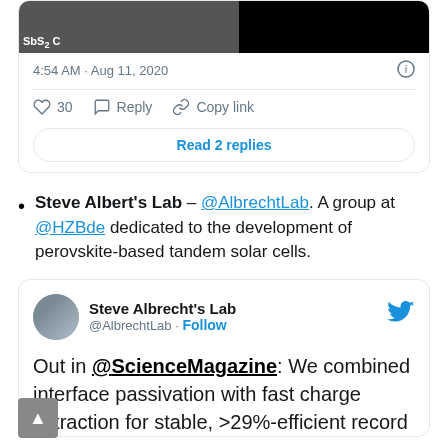[Figure (screenshot): Partial tweet card top: image of SbS2 C material on left (dark), black image on right]
4:54 AM · Aug 11, 2020
♡ 30   Reply   Copy link
Read 2 replies
Steve Albert's Lab – @AlbrechtLab. A group at @HZBde dedicated to the development of perovskite-based tandem solar cells.
[Figure (screenshot): Tweet card from Steve Albrecht's Lab (@AlbrechtLab) with Follow button and Twitter bird logo. Tweet text: Out in @ScienceMagazine: We combined interface passivation with fast charge extraction for stable, >29%-efficient record]